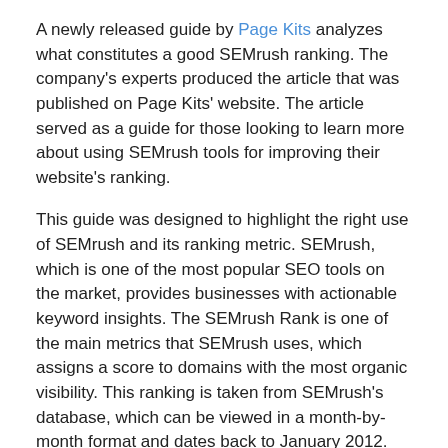A newly released guide by Page Kits analyzes what constitutes a good SEMrush ranking. The company's experts produced the article that was published on Page Kits' website. The article served as a guide for those looking to learn more about using SEMrush tools for improving their website's ranking.
This guide was designed to highlight the right use of SEMrush and its ranking metric. SEMrush, which is one of the most popular SEO tools on the market, provides businesses with actionable keyword insights. The SEMrush Rank is one of the main metrics that SEMrush uses, which assigns a score to domains with the most organic visibility. This ranking is taken from SEMrush's database, which can be viewed in a month-by-month format and dates back to January 2012.
The article focuses on how these rankings are calculated. According to Page Kits, their experts conducted meticulous market